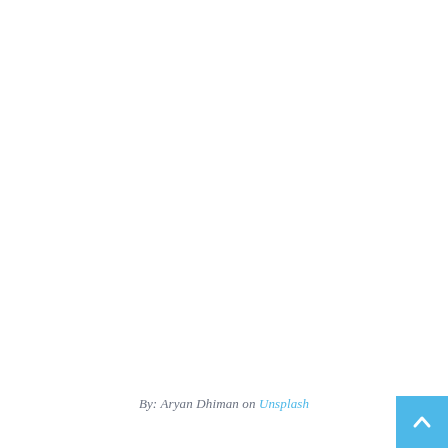By: Aryan Dhiman on Unsplash
[Figure (other): Blue scroll-to-top button with upward chevron arrow, positioned in the bottom-right corner]